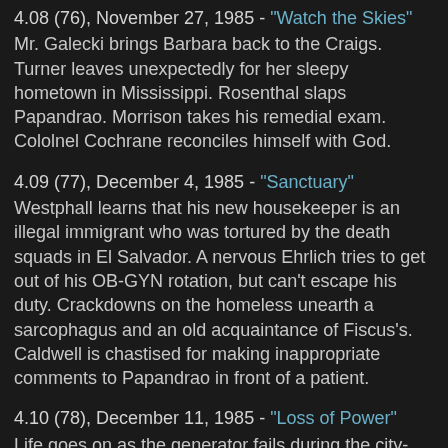4.08 (76), November 27, 1985 - "Watch the Skies"
Mr. Galecki brings Barbara back to the Craigs. Turner leaves unexpectedly for her sleepy hometown in Mississippi. Rosenthal slaps Papandrao. Morrison takes his remedial exam. Cololnel Cochrane reconciles himself with God.
4.09 (77), December 4, 1985 - "Sanctuary"
Westphall learns that his new housekeeper is an illegal immigrant who was tortured by the death squads in El Salvador. A nervous Ehrlich tries to get out of his OB-GYN rotation, but can't escape his duty. Crackdowns on the homeless unearth a sarcophagus and an old acquaintance of Fiscus's. Caldwell is chastised for making inappropriate comments to Papandrao in front of a patient.
4.10 (78), December 11, 1985 - "Loss of Power"
Life goes on as the generator fails during the city-wide blackout. Caldwell takes leave to visit a dying friend. Westphall shares a stuck elevator with a volatile nihilist. Craig and Wade perform emergency surgery. Pru returns to the hospital, as do the Valeres. Rosenthal is subpoenaed. Fiscus uses the blackout as an opportunity to get romantic